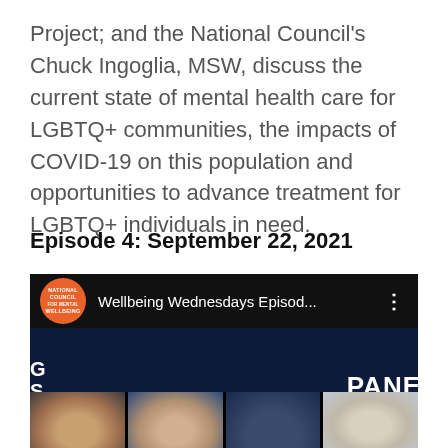Project; and the National Council's Chuck Ingoglia, MSW, discuss the current state of mental health care for LGBTQ+ communities, the impacts of COVID-19 on this population and opportunities to advance treatment for LGBTQ+ individuals in need.
Episode 4: September 22, 2021
[Figure (screenshot): Video thumbnail screenshot of a YouTube-style player showing 'Wellbeing Wednesdays Episod...' with the National Council for Mental Wellbeing orange logo circle, a dark blue panel background showing the text 'PANE' on the right and partial letters on the left, with headshots of panelists along the bottom.]